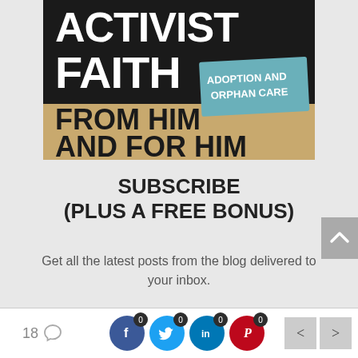[Figure (illustration): Book cover titled 'ACTIVIST FAITH' with subtitle 'ADOPTION AND ORPHAN CARE' and text 'FROM HIM AND FOR HIM'. Dark background with bold distressed typography.]
SUBSCRIBE
(PLUS A FREE BONUS)
Get all the latest posts from the blog delivered to your inbox.
You'll also get a free downloadable copy of
18  [comments icon]  [Facebook 0] [Twitter 0] [LinkedIn 0] [Pinterest 0]  < >